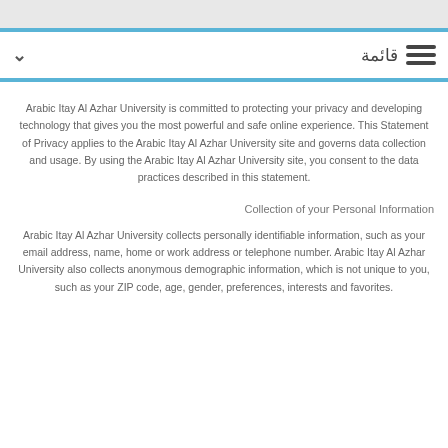قائمة ☰
Arabic Itay Al Azhar University is committed to protecting your privacy and developing technology that gives you the most powerful and safe online experience. This Statement of Privacy applies to the Arabic Itay Al Azhar University site and governs data collection and usage. By using the Arabic Itay Al Azhar University site, you consent to the data practices described in this statement.
Collection of your Personal Information
Arabic Itay Al Azhar University collects personally identifiable information, such as your email address, name, home or work address or telephone number. Arabic Itay Al Azhar University also collects anonymous demographic information, which is not unique to you, such as your ZIP code, age, gender, preferences, interests and favorites.